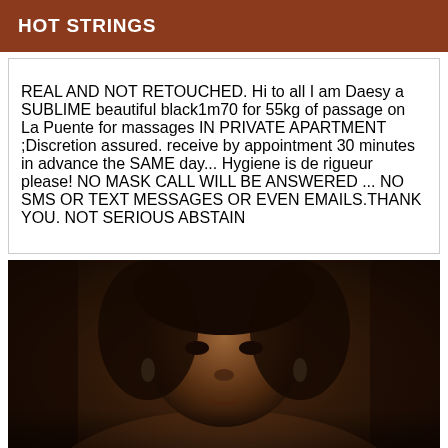HOT STRINGS
REAL AND NOT RETOUCHED. Hi to all I am Daesy a SUBLIME beautiful black1m70 for 55kg of passage on La Puente for massages IN PRIVATE APARTMENT ;Discretion assured. receive by appointment 30 minutes in advance the SAME day... Hygiene is de rigueur please! NO MASK CALL WILL BE ANSWERED ... NO SMS OR TEXT MESSAGES OR EVEN EMAILS.THANK YOU. NOT SERIOUS ABSTAIN
[Figure (photo): Close-up photo of a dark-skinned woman's face and upper body in dim lighting]